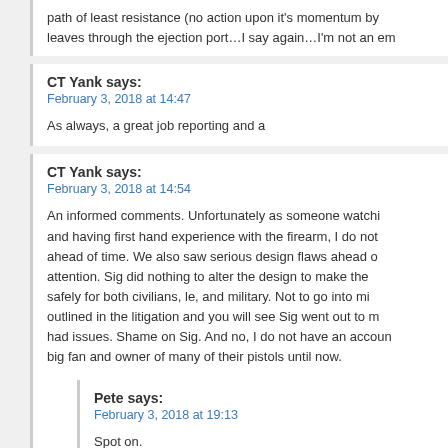path of least resistance (no action upon it's momentum by… leaves through the ejection port…I say again…I'm not an en…
CT Yank says:
February 3, 2018 at 14:47

As always, a great job reporting and a
CT Yank says:
February 3, 2018 at 14:54

An informed comments. Unfortunately as someone watchi… and having first hand experience with the firearm, I do not… ahead of time. We also saw serious design flaws ahead o… attention. Sig did nothing to alter the design to make the… safely for both civilians, le, and military. Not to go into m… outlined in the litigation and you will see Sig went out to m… had issues. Shame on Sig. And no, I do not have an accoun… big fan and owner of many of their pistols until now.
Pete says:
February 3, 2018 at 19:13

Spot on.
The P320/XM17 is full of innovation and may be a v… specific case here, the Army-led procurement is de… inadequate weapon system. Not the first time.